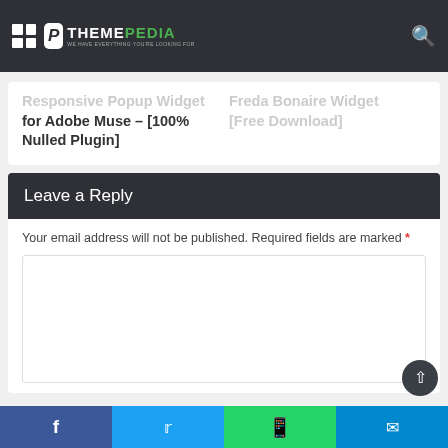THEMEPEDIA – WE HAVE EVERYTHING YOU'RE LOOKING FOR
Responsive Popup Widget for Adobe Muse – [100% Nulled Plugin]
Freda Bonaire Widget [Free Download]
Leave a Reply
Your email address will not be published. Required fields are marked *